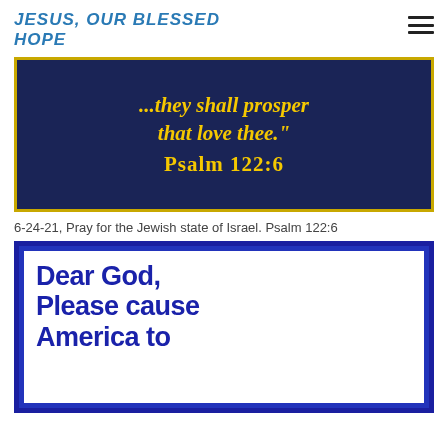JESUS, OUR BLESSED HOPE
[Figure (photo): Dark navy blue background image with yellow Gothic/Old English text reading '...they shall prosper that love thee.' Psalm 122:6, with a yellow decorative border.]
6-24-21, Pray for the Jewish state of Israel. Psalm 122:6
[Figure (photo): Blue-bordered image with white interior showing dark blue bold blocky text reading 'Dear God, Please cause America to' (partially visible).]